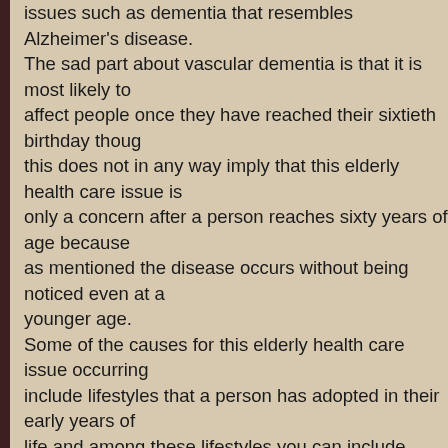issues such as dementia that resembles Alzheimer's disease. The sad part about vascular dementia is that it is most likely to affect people once they have reached their sixtieth birthday though this does not in any way imply that this elderly health care issue is only a concern after a person reaches sixty years of age because as mentioned the disease occurs without being noticed even at a younger age. Some of the causes for this elderly health care issue occurring include lifestyles that a person has adopted in their early years of life and among these lifestyles you can include smoking and obesity as well as lack of sufficient exercise as too elevated cholesterol levels and high blood pressure. Therefore, if you have neglected taking good care of you during your early years, then in later years you will be at risk of suffering from an elderly health care issue such as vascular dementia. The American population too is fast aging which in turn is giving rise to finding suitable health care for the aged. Home health care elderly is a matter that needs to be addressed well before an elderly person becomes in need of such care. The fact of the matter is that once a person becomes old enough to need home health care they will be in a sorry state and will not know where to start, especially when it concerns hiring private he...